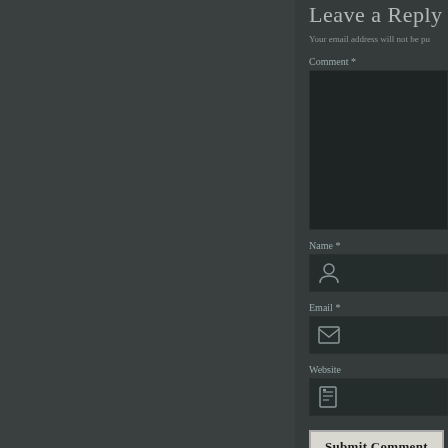Leave a Reply
Your email address will not be pu
Comment *
Name *
Email *
Website
Submit Comment